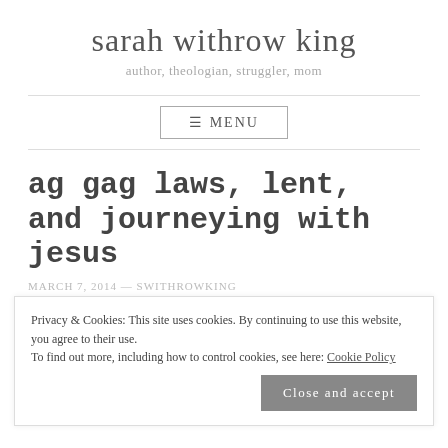sarah withrow king
author, theologian, struggler, mom
≡ MENU
ag gag laws, lent, and journeying with jesus
MARCH 7, 2014 — SWITHROWKING
Privacy & Cookies: This site uses cookies. By continuing to use this website, you agree to their use.
To find out more, including how to control cookies, see here: Cookie Policy
Close and accept